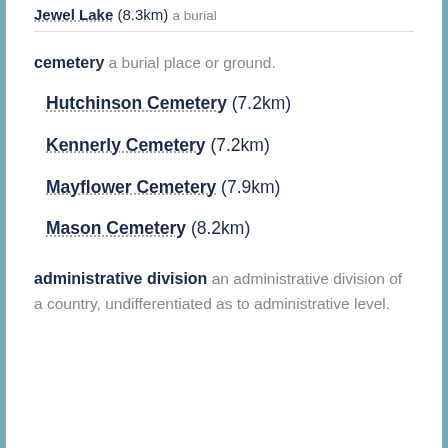Jewel Lake (8.3km) a burial
cemetery a burial place or ground.
Hutchinson Cemetery (7.2km)
Kennerly Cemetery (7.2km)
Mayflower Cemetery (7.9km)
Mason Cemetery (8.2km)
administrative division an administrative division of a country, undifferentiated as to administrative level.